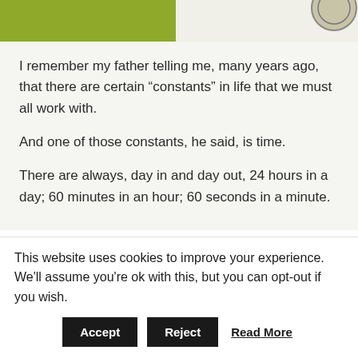[Figure (illustration): Top banner with olive/yellow-green left half and light beige right half with a partial circular illustration visible at top right]
I remember my father telling me, many years ago, that there are certain “constants” in life that we must all work with.
And one of those constants, he said, is time.
There are always, day in and day out, 24 hours in a day; 60 minutes in an hour; 60 seconds in a minute.
This website uses cookies to improve your experience. We’ll assume you’re ok with this, but you can opt-out if you wish.
Accept  Reject  Read More